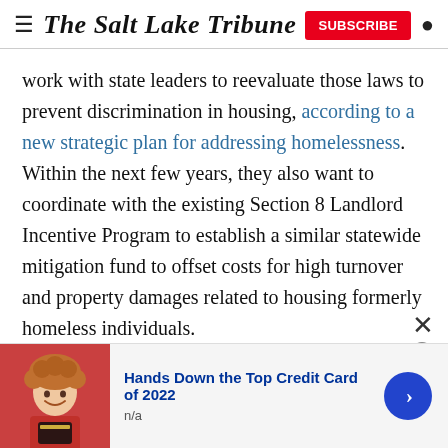The Salt Lake Tribune
work with state leaders to reevaluate those laws to prevent discrimination in housing, according to a new strategic plan for addressing homelessness. Within the next few years, they also want to coordinate with the existing Section 8 Landlord Incentive Program to establish a similar statewide mitigation fund to offset costs for high turnover and property damages related to housing formerly homeless individuals.
As he enters the next phase of his life, Osborn said he
[Figure (photo): Advertisement banner: photo of a smiling person holding a credit card, with text 'Hands Down the Top Credit Card of 2022' and 'n/a', and a blue arrow button on the right side.]